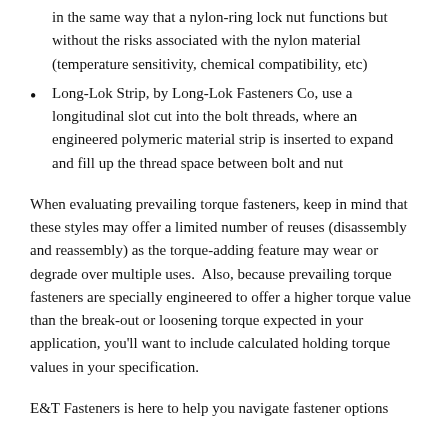in the same way that a nylon-ring lock nut functions but without the risks associated with the nylon material (temperature sensitivity, chemical compatibility, etc)
Long-Lok Strip, by Long-Lok Fasteners Co, use a longitudinal slot cut into the bolt threads, where an engineered polymeric material strip is inserted to expand and fill up the thread space between bolt and nut
When evaluating prevailing torque fasteners, keep in mind that these styles may offer a limited number of reuses (disassembly and reassembly) as the torque-adding feature may wear or degrade over multiple uses.  Also, because prevailing torque fasteners are specially engineered to offer a higher torque value than the break-out or loosening torque expected in your application, you’ll want to include calculated holding torque values in your specification.
E&T Fasteners is here to help you navigate fastener options